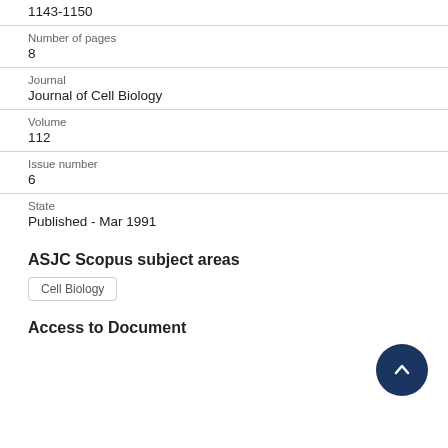1143-1150
Number of pages
8
Journal
Journal of Cell Biology
Volume
112
Issue number
6
State
Published - Mar 1991
ASJC Scopus subject areas
Cell Biology
Access to Document